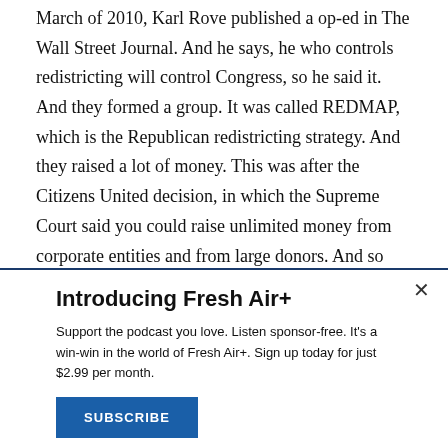March of 2010, Karl Rove published a op-ed in The Wall Street Journal. And he says, he who controls redistricting will control Congress, so he said it. And they formed a group. It was called REDMAP, which is the Republican redistricting strategy. And they raised a lot of money. This was after the Citizens United decision, in which the Supreme Court said you could raise unlimited money from corporate entities and from large donors. And so they raised a lot of money from big donors from corporate interests.
Introducing Fresh Air+
Support the podcast you love. Listen sponsor-free. It's a win-win in the world of Fresh Air+. Sign up today for just $2.99 per month.
SUBSCRIBE